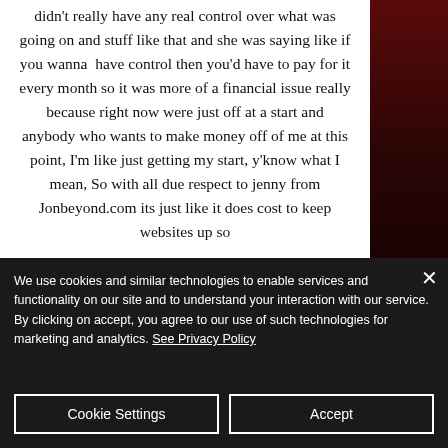didn't really have any real control over what was going on and stuff like that and she was saying like if you wanna have control then you'd have to pay for it every month so it was more of a financial issue really because right now were just off at a start and anybody who wants to make money off of me at this point, I'm like just getting my start, y'know what I mean, So with all due respect to jenny from Jonbeyond.com its just like it does cost to keep websites up so
We use cookies and similar technologies to enable services and functionality on our site and to understand your interaction with our service. By clicking on accept, you agree to our use of such technologies for marketing and analytics. See Privacy Policy
Cookie Settings
Accept